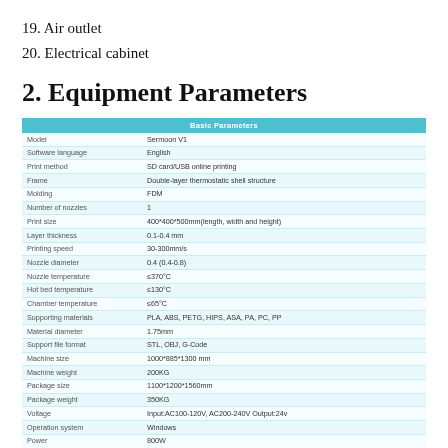19. Air outlet
20. Electrical cabinet
2. Equipment Parameters
| Basic Parameters |  |
| --- | --- |
| Model | Sermoon V1 |
| Software language | English |
| Print method | SD card/USB online printing |
| Frame | Double-layer thermostatic shell structure |
| Molding | FDM |
| Number of nozzles | 1 |
| Print size | 400*400*500mm(length, width and height) |
| Layer thickness | 0.1-0.4 mm |
| Printing speed | 30-300mm/s |
| Nozzle diameter | 0.4 (0.4-0.8) |
| Nozzle temperature | ≤370°C |
| Hot bed temperature | ≤130°C |
| Chamber temperature | ≤65°C |
| Supporting materials | PLA, ABS, PETG, HIPS, ASA, PA, PC, PP |
| Material diameter | 1.75mm |
| Support file format | STL, OBJ, G-Code |
| Machine size | 1000*885*1300 mm |
| Machine weight | 200KG |
| Package size | 1100*1200*1560mm |
| Package weight | 350KG |
| Voltage | Input:AC100-120V, AC200-240V Output:24v |
| Operation system | Windows |
| Power | 800W |
| Environmental requirements | 10-30°C, Humidity: 20-37% |
| Display screen | 7 inch |